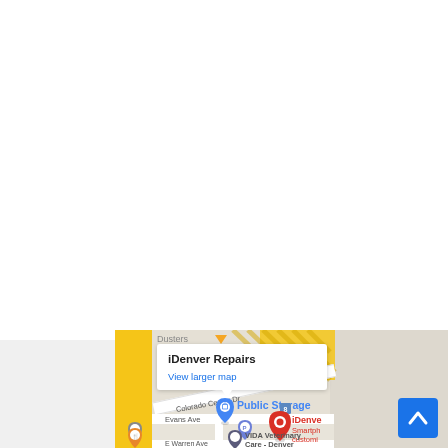[Figure (screenshot): Google Maps screenshot showing iDenver Repairs location near Evans Ave and S Ash St in Denver, CO. A white info popup shows 'iDenver Repairs' and 'View larger map' link. Map shows Colorado Center Dr, Public Storage pin (blue), Evans Ave, a red location pin for iDenver Smartphone customization, a blue P parking pin, a VIDA Veterinary Care - Denver pin, E Warren Ave, and S Ash St. Right portion of map shows gray (no data) area. A blue scroll-to-top button appears bottom right.]